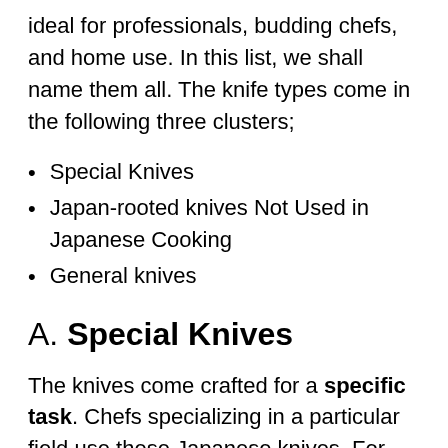ideal for professionals, budding chefs, and home use. In this list, we shall name them all. The knife types come in the following three clusters;
Special Knives
Japan-rooted knives Not Used in Japanese Cooking
General knives
A. Special Knives
The knives come crafted for a specific task. Chefs specializing in a particular field use these Japanese knives. For example, if a chef deals